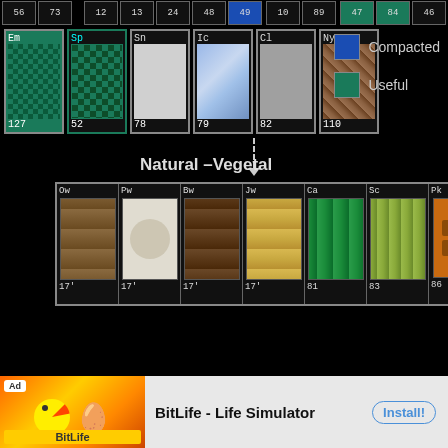[Figure (screenshot): Screenshot of a Minecraft-themed periodic table of blocks, showing rows of block cells with abbreviations and numbers. Categories include 'Natural-Vegetal' with wood, bamboo, pumpkin types. A legend shows blue=Compacted, teal=Useful.]
Minecraft is an adventure game. Minecraft is a horror game. Minecraft is an engineering game. Minecraft is a chemistry game. All of it is ...
Read >
Go Dutch Bill Lets You Split the Tab, Literally.
[Figure (screenshot): Advertisement banner for BitLife - Life Simulator app, with colorful ad image and Install button.]